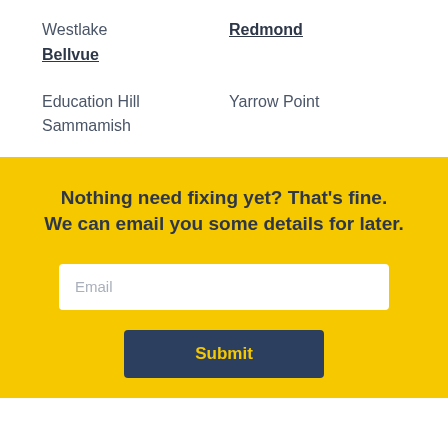Westlake
Redmond
Bellvue
Education Hill
Yarrow Point
Sammamish
Nothing need fixing yet? That's fine. We can email you some details for later.
Email
Submit